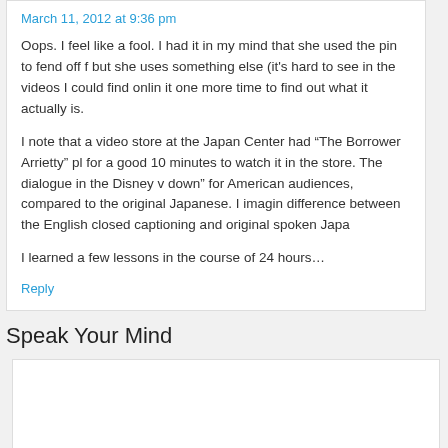March 11, 2012 at 9:36 pm
Oops. I feel like a fool. I had it in my mind that she used the pin to fend off but she uses something else (it's hard to see in the videos I could find onlin it one more time to find out what it actually is.
I note that a video store at the Japan Center had “The Borrower Arrietty” pl for a good 10 minutes to watch it in the store. The dialogue in the Disney v down” for American audiences, compared to the original Japanese. I imagin difference between the English closed captioning and original spoken Japa
I learned a few lessons in the course of 24 hours…
Reply
Speak Your Mind